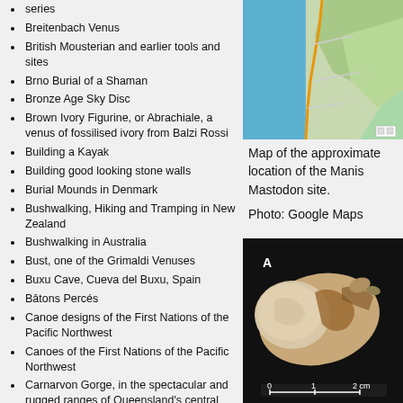series
Breitenbach Venus
British Mousterian and earlier tools and sites
Brno Burial of a Shaman
Bronze Age Sky Disc
Brown Ivory Figurine, or Abrachiale, a venus of fossilised ivory from Balzi Rossi
Building a Kayak
Building good looking stone walls
Burial Mounds in Denmark
Bushwalking, Hiking and Tramping in New Zealand
Bushwalking in Australia
Bust, one of the Grimaldi Venuses
Buxu Cave, Cueva del Buxu, Spain
Bâtons Percés
Canoe designs of the First Nations of the Pacific Northwest
Canoes of the First Nations of the Pacific Northwest
Carnarvon Gorge, in the spectacular and rugged ranges of Queensland's central highlands
Carnarvon Gorge - an Aboriginal Rock Stencil Art site, with engravings of vulvas, emu and kangaroo tracks
Castlehead drilling doc...
[Figure (map): Map of the approximate location of the Manis Mastodon site, shown as a Google Maps screenshot with terrain/road view of what appears to be a coastal area in the Pacific Northwest.]
Map of the approximate location of the Manis Mastodon site.
Photo: Google Maps
[Figure (photo): Close-up photograph of a fossil bone fragment (mastodon bone) on a black background, with a scale bar showing 0, 1, 2 cm. Label 'A' visible in upper left of the image.]